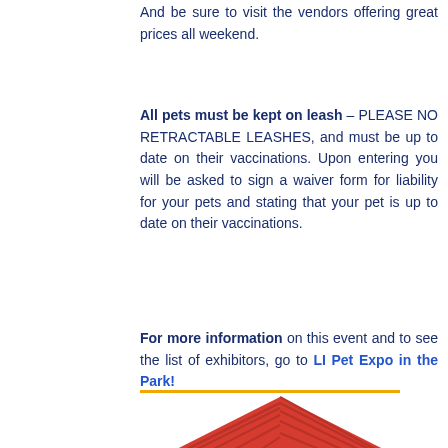And be sure to visit the vendors offering great prices all weekend.
All pets must be kept on leash – PLEASE NO RETRACTABLE LEASHES, and must be up to date on their vaccinations. Upon entering you will be asked to sign a waiver form for liability for your pets and stating that your pet is up to date on their vaccinations.
For more information on this event and to see the list of exhibitors, go to LI Pet Expo in the Park!
[Figure (illustration): Illustration of a dog house with a red roof and blue/light blue walls, with a dark arched doorway. Partial view of a dog at the bottom left.]